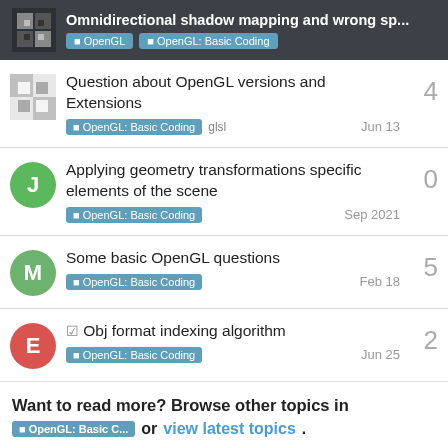Omnidirectional shadow mapping and wrong sp... | OpenGL | OpenGL: Basic Coding
Question about OpenGL versions and Extensions | OpenGL: Basic Coding glsl | Jun 13 | 4 replies
Applying geometry transformations specific elements of the scene | OpenGL: Basic Coding | Sep 2021 | 0 replies
Some basic OpenGL questions | OpenGL: Basic Coding | Feb 18 | 5 replies
☑ Obj format indexing algorithm | OpenGL: Basic Coding | Jun 25 | 2 replies
Want to read more? Browse other topics in OpenGL: Basic C... or view latest topics.